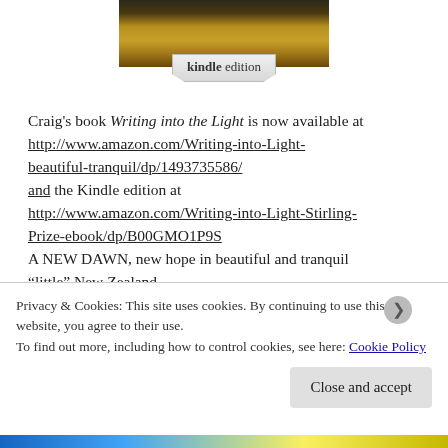[Figure (photo): Book cover image showing wooden surface with kindle edition badge]
Craig's book Writing into the Light is now available at http://www.amazon.com/Writing-into-Light-beautiful-tranquil/dp/1493735586/ and the Kindle edition at http://www.amazon.com/Writing-into-Light-Stirling-Prize-ebook/dp/B00GMO1P9S A NEW DAWN, new hope in beautiful and tranquil “little” New Zealand
Privacy & Cookies: This site uses cookies. By continuing to use this website, you agree to their use.
To find out more, including how to control cookies, see here: Cookie Policy
Close and accept